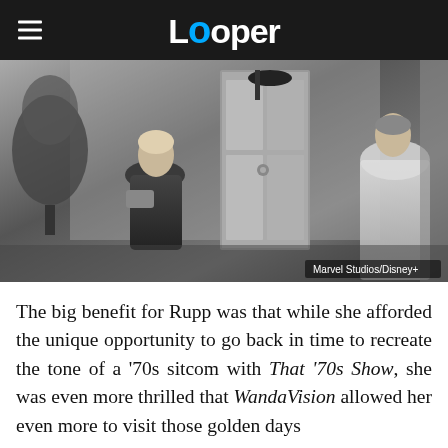Looper
[Figure (photo): Black and white still from WandaVision showing two women in 1950s-style clothing at a doorway. One woman on the left is smiling and holding a purse, the other on the right is standing at the door in a formal ball gown. Credit: Marvel Studios/Disney+]
The big benefit for Rupp was that while she afforded the unique opportunity to go back in time to recreate the tone of a '70s sitcom with That '70s Show, she was even more thrilled that WandaVision allowed her even more to visit those golden days